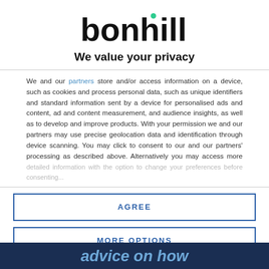[Figure (logo): Bonhill logo with teal dot accent over the letter i]
We value your privacy
We and our partners store and/or access information on a device, such as cookies and process personal data, such as unique identifiers and standard information sent by a device for personalised ads and content, ad and content measurement, and audience insights, as well as to develop and improve products. With your permission we and our partners may use precise geolocation data and identification through device scanning. You may click to consent to our and our partners' processing as described above. Alternatively you may access more detailed information...
AGREE
MORE OPTIONS
advice on how